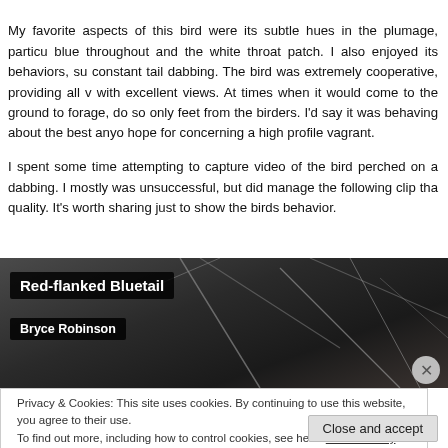My favorite aspects of this bird were its subtle hues in the plumage, particularly the blue throughout and the white throat patch. I also enjoyed its behaviors, such as the constant tail dabbing. The bird was extremely cooperative, providing all with excellent views. At times when it would come to the ground to forage, it would do so only feet from the birders. I'd say it was behaving about the best anyone could hope for concerning a high profile vagrant.
I spent some time attempting to capture video of the bird perched on a branch and dabbing. I mostly was unsuccessful, but did manage the following clip that is of poor quality. It's worth sharing just to show the birds behavior.
[Figure (screenshot): Video screenshot of Red-flanked Bluetail bird on dark branches, with overlay labels showing 'Red-flanked Bluetail' and 'Bryce Robinson'. A close button (X) appears at the bottom right.]
Privacy & Cookies: This site uses cookies. By continuing to use this website, you agree to their use.
To find out more, including how to control cookies, see here: Cookie Policy
Close and accept